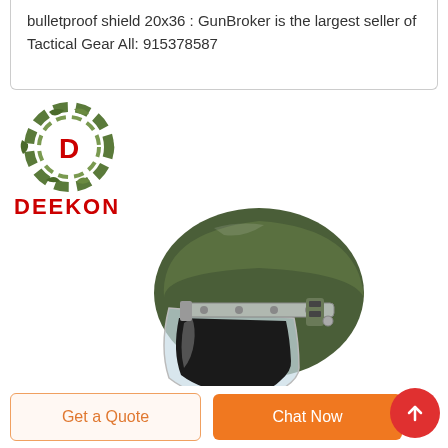bulletproof shield 20x36 : GunBroker is the largest seller of Tactical Gear All: 915378587
[Figure (logo): Deekon company logo with camouflage circular target design and red D letter in center, with DEEKON text in red below]
[Figure (photo): Military/tactical green helmet with clear visor/face shield, shown on white background, product photo]
Get a Quote
Chat Now